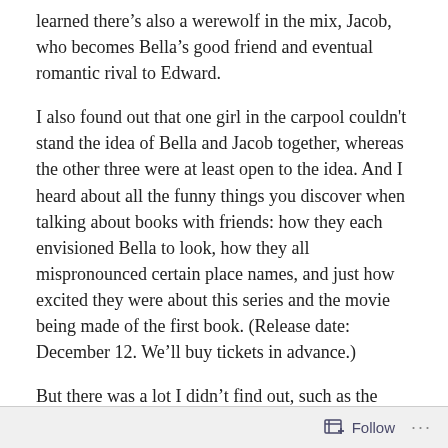learned there's also a werewolf in the mix, Jacob, who becomes Bella's good friend and eventual romantic rival to Edward.
I also found out that one girl in the carpool couldn't stand the idea of Bella and Jacob together, whereas the other three were at least open to the idea. And I heard about all the funny things you discover when talking about books with friends: how they each envisioned Bella to look, how they all mispronounced certain place names, and just how excited they were about this series and the movie being made of the first book. (Release date: December 12. We'll buy tickets in advance.)
But there was a lot I didn't find out, such as the basic plot of the story, what moved it forward, and whether the
Follow ···